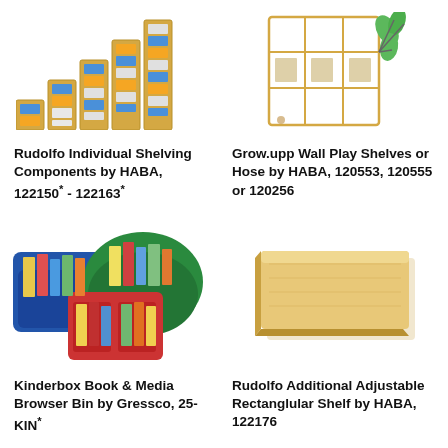[Figure (photo): Rudolfo Individual Shelving Components by HABA – stepped row of wooden modular shelf units with colored bins]
[Figure (photo): Grow.upp Wall Play Shelves or Hose by HABA – wooden wall-mounted shelf unit with green leaf decorations]
Rudolfo Individual Shelving Components by HABA, 122150* - 122163*
Grow.upp Wall Play Shelves or Hose by HABA, 120553, 120555 or 120256
[Figure (photo): Kinderbox Book & Media Browser Bin by Gressco – colorful blue, green, and red book display bins filled with children's books]
[Figure (photo): Rudolfo Additional Adjustable Rectangular Shelf by HABA – plain rectangular wooden shelf panel]
Kinderbox Book & Media Browser Bin by Gressco, 25-KIN*
Rudolfo Additional Adjustable Rectanglular Shelf by HABA, 122176